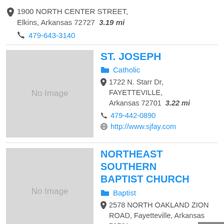1900 NORTH CENTER STREET, Elkins, Arkansas 72727  3.19 mi
479-643-3140
ST. JOSEPH
Catholic
1722 N. Starr Dr, FAYETTEVILLE, Arkansas 72701  3.22 mi
479-442-0890
http://www.sjfay.com
NORTHEAST SOUTHERN BAPTIST CHURCH
Baptist
2578 NORTH OAKLAND ZION ROAD, Fayetteville, Arkansas 72701
3.33 mi